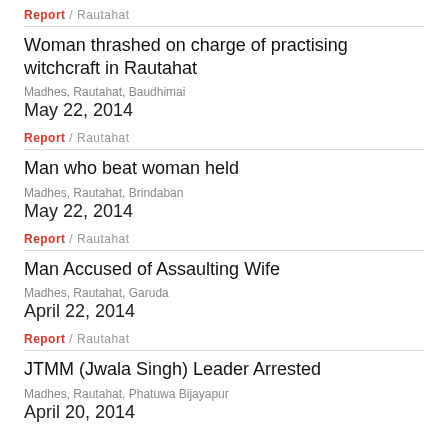Report / Rautahat
Woman thrashed on charge of practising witchcraft in Rautahat
Madhes, Rautahat, Baudhimai
May 22, 2014
Report / Rautahat
Man who beat woman held
Madhes, Rautahat, Brindaban
May 22, 2014
Report / Rautahat
Man Accused of Assaulting Wife
Madhes, Rautahat, Garuda
April 22, 2014
Report / Rautahat
JTMM (Jwala Singh) Leader Arrested
Madhes, Rautahat, Phatuwa Bijayapur
April 20, 2014